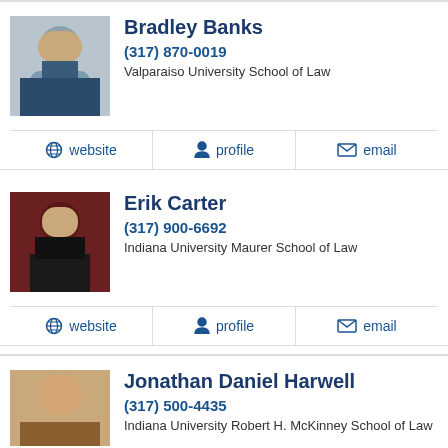[Figure (photo): Headshot of Bradley Banks, man in suit with arms crossed]
Bradley Banks
(317) 870-0019
Valparaiso University School of Law
website  profile  email
[Figure (photo): Headshot of Erik Carter, man with glasses]
Erik Carter
(317) 900-6692
Indiana University Maurer School of Law
website  profile  email
[Figure (photo): Headshot of Jonathan Daniel Harwell, man with glasses]
Jonathan Daniel Harwell
(317) 500-4435
Indiana University Robert H. McKinney School of Law